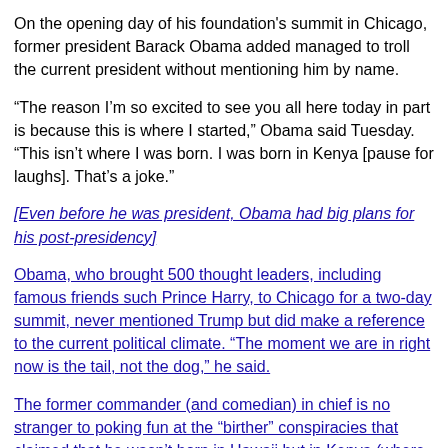On the opening day of his foundation's summit in Chicago, former president Barack Obama added managed to troll the current president without mentioning him by name.
“The reason I’m so excited to see you all here today in part is because this is where I started,” Obama said Tuesday. “This isn’t where I was born. I was born in Kenya [pause for laughs]. That’s a joke.”
[Even before he was president, Obama had big plans for his post-presidency]
Obama, who brought 500 thought leaders, including famous friends such Prince Harry, to Chicago for a two-day summit, never mentioned Trump but did make a reference to the current political climate. “The moment we are in right now is the tail, not the dog,” he said.
The former commander (and comedian) in chief is no stranger to poking fun at the “birther” conspiracies that claimed that he wasn’t born in Hawaii but in Kenya (where his father is from) and was therefore ineligible for the Oval Office.